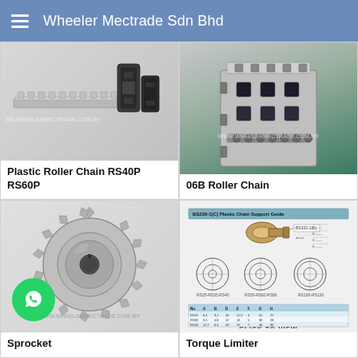Wheeler Mectrade Sdn Bhd
[Figure (photo): Photo of Plastic Roller Chain components - RS40P RS60P, showing elongated chain rail and two chain link pieces]
Plastic Roller Chain RS40P RS60P
[Figure (photo): Photo of 06B Roller Chain showing aluminum extrusion profile with chain attached]
06B Roller Chain
[Figure (photo): Photo of a silver/steel sprocket with teeth around the circumference and a center bore hole. WhatsApp contact button visible in lower left.]
Sprocket
[Figure (engineering-diagram): Engineering diagram/schematic of a Torque Limiter showing technical drawings with dimensions, part numbers (BS202-1(C)), cross-section views, and a data table. CLICK TO VIEW label at bottom.]
Torque Limiter